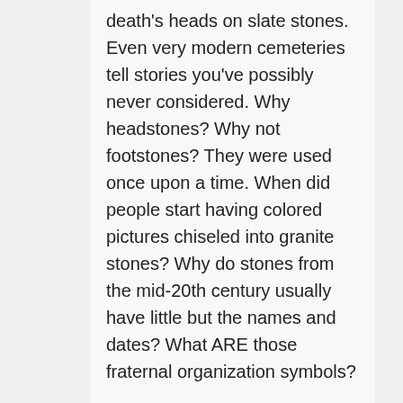death's heads on slate stones. Even very modern cemeteries tell stories you've possibly never considered. Why headstones? Why not footstones? They were used once upon a time. When did people start having colored pictures chiseled into granite stones? Why do stones from the mid-20th century usually have little but the names and dates? What ARE those fraternal organization symbols?

Even story ideas can crop up. I like to show friends a stone in my home town's cemetery in Massachusetts. Along with the name and dates, it